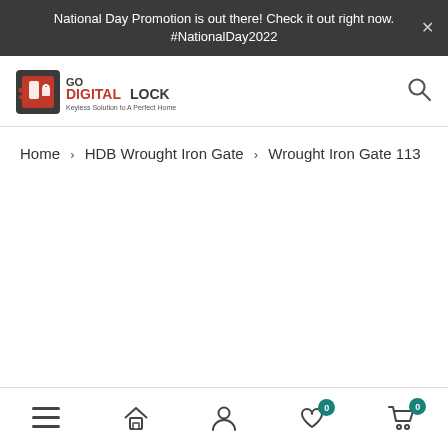National Day Promotion is out there! Check it out right now. #NationalDay2022
[Figure (logo): Go Digital Lock logo — red and grey shield icon with text 'GO DIGITALLOCK Keyless Solution to A Perfect Home']
Home > HDB Wrought Iron Gate > Wrought Iron Gate 113
Navigation bar with menu, home, account, wishlist (0), cart (0) icons